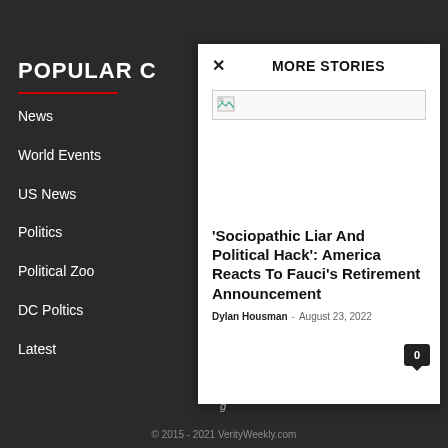POPULAR C
News
World Events
US News
Politics
Political Zoo
DC Poltics
Latest
MORE STORIES
[Figure (screenshot): Broken image placeholder thumbnail]
'Sociopathic Liar And Political Hack': America Reacts To Fauci's Retirement Announcement
Dylan Housman  -  August 23, 2022
© 2015 - 2021 VerityWeekly.com